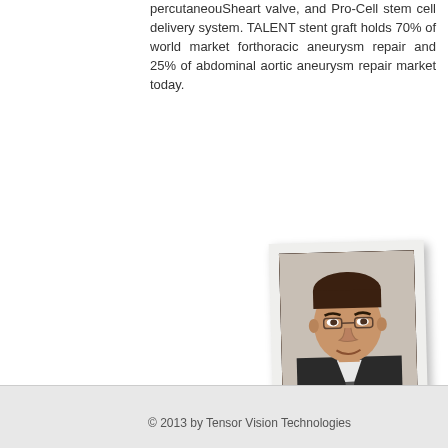percutaneouSheart valve, and Pro-Cell stem cell delivery system. TALENT stent graft holds 70% of world market forthoracic aneurysm repair and 25% of abdominal aortic aneurysm repair market today.
[Figure (photo): Headshot photo of Dr. Paul Griffin, a middle-aged man with dark hair, wearing a suit, against a light background]
Dr. Paul Griffin is Stanford educated with 25+ years expertise in biometrics and quantative finance. He is Director, portfolio management at WorldQuant LLC, former CTO at Identix and Visionics Inc. and executive at Goldman Sachs, Ab Initio, Extrema Captial Inc.
© 2013 by Tensor Vision Technologies